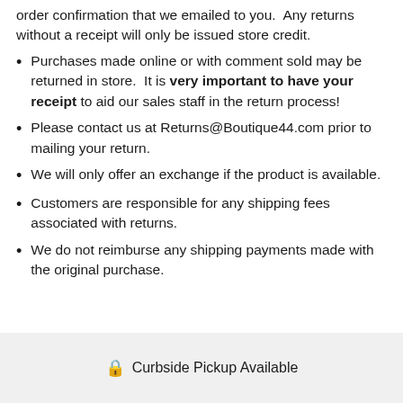order confirmation that we emailed to you.  Any returns without a receipt will only be issued store credit.
Purchases made online or with comment sold may be returned in store.  It is very important to have your receipt to aid our sales staff in the return process!
Please contact us at Returns@Boutique44.com prior to mailing your return.
We will only offer an exchange if the product is available.
Customers are responsible for any shipping fees associated with returns.
We do not reimburse any shipping payments made with the original purchase.
🔒 Curbside Pickup Available